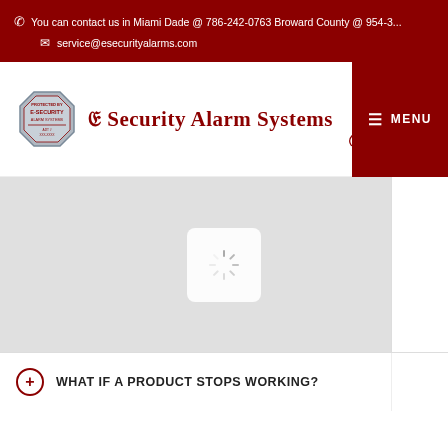☏ You can contact us in Miami Dade @ 786-242-0763 Broward County @ 954-3...
✉ service@esecurityalarms.com
[Figure (logo): E-Security Alarm Systems logo with octagonal badge and lion heraldic symbol, brand name in blackletter font reading 'E Security Alarm Systems']
[Figure (screenshot): Google Maps loading spinner on grey background, showing a loading spinner icon in a white rounded box]
+ WHAT IF A PRODUCT STOPS WORKING?